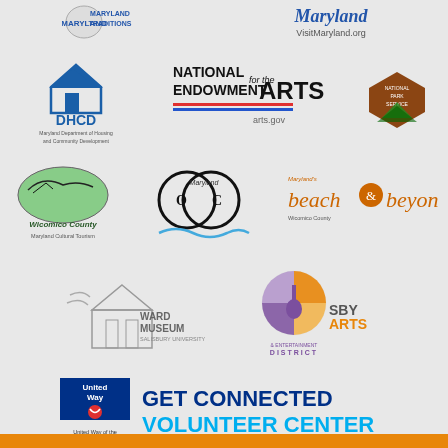[Figure (logo): Maryland Traditions logo]
[Figure (logo): Visit Maryland - VisitMaryland.org logo]
[Figure (logo): DHCD - Maryland Department of Housing and Community Development logo]
[Figure (logo): National Endowment for the Arts - arts.gov logo]
[Figure (logo): National Park Service arrowhead logo]
[Figure (logo): Wicomico County Maryland Cultural Tourism logo]
[Figure (logo): OC Maryland logo]
[Figure (logo): Maryland's Beach & Beyond - Wicomico County logo]
[Figure (logo): Ward Museum Salisbury University logo]
[Figure (logo): SbyArts Arts & Entertainment District logo]
[Figure (logo): United Way Get Connected Volunteer Center - United Way of the Lower Eastern Shore]